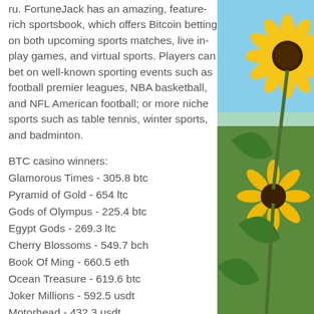ru. FortuneJack has an amazing, feature-rich sportsbook, which offers Bitcoin betting on both upcoming sports matches, live in-play games, and virtual sports. Players can bet on well-known sporting events such as football premier leagues, NBA basketball, and NFL American football; or more niche sports such as table tennis, winter sports, and badminton.
BTC casino winners:
Glamorous Times - 305.8 btc
Pyramid of Gold - 654 ltc
Gods of Olympus - 225.4 btc
Egypt Gods - 269.3 ltc
Cherry Blossoms - 549.7 bch
Book Of Ming - 660.5 eth
Ocean Treasure - 619.6 btc
Joker Millions - 592.5 usdt
Motorhead - 432.3 usdt
Harvest Fest - 70.3 eth
Dracula - 304.2 usdt
[Figure (photo): Close-up photo of bright yellow sunflowers against a light blue sky background, cropped to show the right portion of the image]